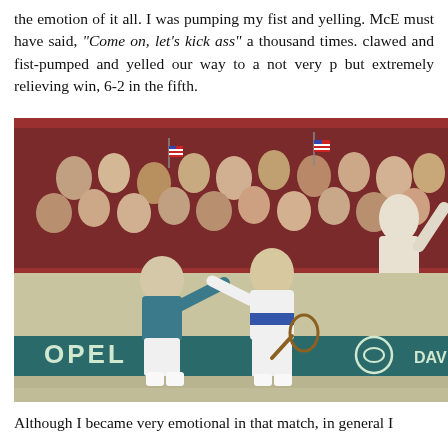the emotion of it all. I was pumping my fist and yelling. McE must have said, "Come on, let's kick ass" a thousand times. clawed and fist-pumped and yelled our way to a not very p but extremely relieving win, 6-2 in the fifth.
[Figure (photo): Two tennis players in white uniforms high-fiving on court with crowd waving American flags in background. An Opel advertisement banner is visible courtside. Davis Cup context suggested.]
Although I became very emotional in that match, in general I